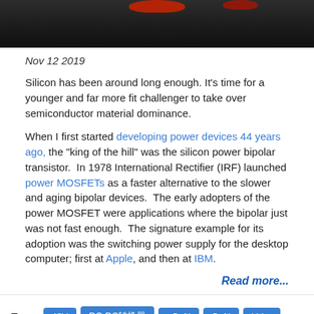[Figure (photo): Top banner image with dark background, partially visible red object at top]
Nov 12 2019
Silicon has been around long enough. It’s time for a younger and far more fit challenger to take over semiconductor material dominance.
When I first started developing power devices 44 years ago, the “king of the hill” was the silicon power bipolar transistor. In 1978 International Rectifier (IRF) launched power MOSFETs as a faster alternative to the slower and aging bipolar devices. The early adopters of the power MOSFET were applications where the bipolar just was not fast enough. The signature example for its adoption was the switching power supply for the desktop computer; first at Apple, and then at IBM.
Read more...
Tags: 48V  DC-DC转换器  eGaN  GaN  Lidar  MOSFET
氮化顕  氮化顕  氮化